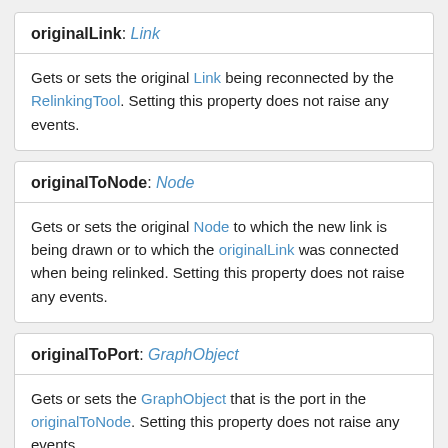originalLink: Link
Gets or sets the original Link being reconnected by the RelinkingTool. Setting this property does not raise any events.
originalToNode: Node
Gets or sets the original Node to which the new link is being drawn or to which the originalLink was connected when being relinked. Setting this property does not raise any events.
originalToPort: GraphObject
Gets or sets the GraphObject that is the port in the originalToNode. Setting this property does not raise any events.